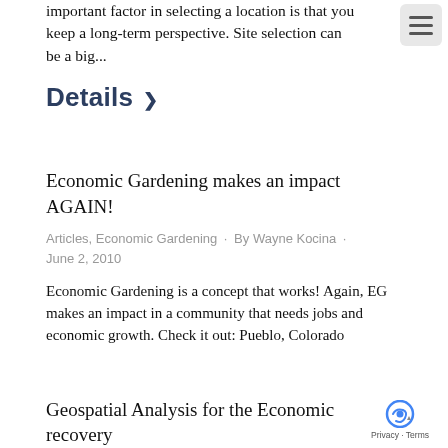important factor in selecting a location is that you keep a long-term perspective. Site selection can be a big...
Details ›
Economic Gardening makes an impact AGAIN!
Articles, Economic Gardening · By Wayne Kocina · June 2, 2010
Economic Gardening is a concept that works! Again, EG makes an impact in a community that needs jobs and economic growth. Check it out: Pueblo, Colorado
Geospatial Analysis for the Economic recovery